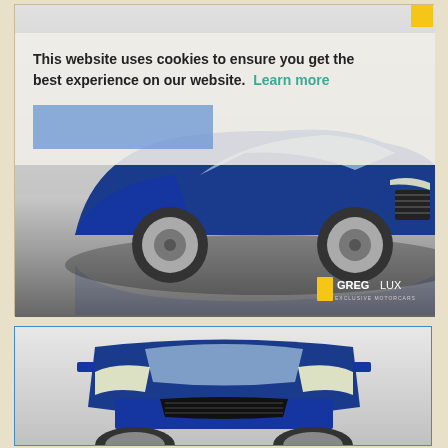[Figure (photo): Blue Audi S6 sedan shown from a 3/4 front angle in a studio with grey floor. A cookie consent overlay partially covers the top of the image. A 'Greg Lux Exclusive Motorcars' watermark appears in the bottom right corner.]
This website uses cookies to ensure you get the best experience on our website.  Learn more
[Figure (photo): Blue Audi S6 sedan shown from a direct front-facing angle in a studio with light grey background, partially cropped at the bottom of the page.]